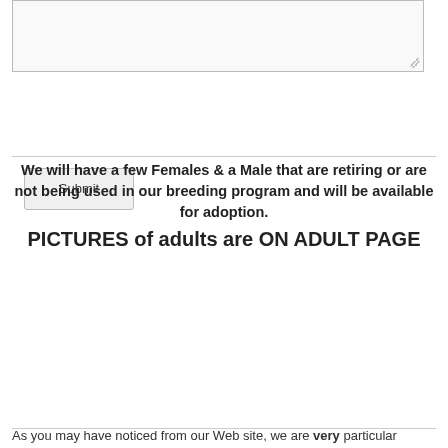[Figure (screenshot): Text area input box (form element)]
[Figure (screenshot): Submit button (form element)]
We will have a few Females & a Male that are retiring or are not being used in our breeding program and will be available for adoption. PICTURES of adults are ON ADULT PAGE
[Figure (screenshot): Blue button labeled Our Mom's]
[Figure (screenshot): Blue button labeled Our Dad's]
As you may have noticed from our Web site, we are very particular